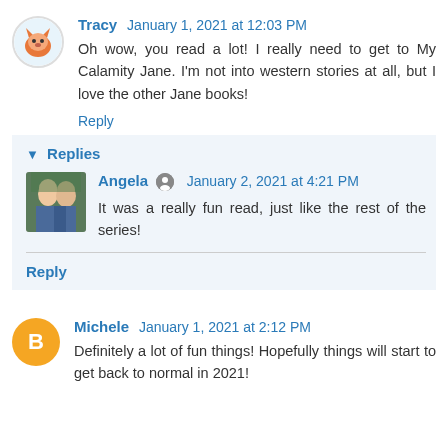Tracy  January 1, 2021 at 12:03 PM
Oh wow, you read a lot! I really need to get to My Calamity Jane. I'm not into western stories at all, but I love the other Jane books!
Reply
▾ Replies
Angela  January 2, 2021 at 4:21 PM
It was a really fun read, just like the rest of the series!
Reply
Michele  January 1, 2021 at 2:12 PM
Definitely a lot of fun things! Hopefully things will start to get back to normal in 2021!